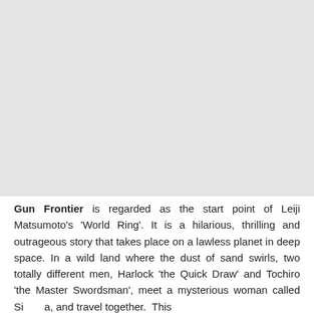[Figure (other): Large light grey placeholder image occupying the upper portion of the page]
Gun Frontier is regarded as the start point of Leiji Matsumoto's 'World Ring'. It is a hilarious, thrilling and outrageous story that takes place on a lawless planet in deep space. In a wild land where the dust of sand swirls, two totally different men, Harlock 'the Quick Draw' and Tochiro 'the Master Swordsman', meet a mysterious woman called Si[...] a, and travel together. This